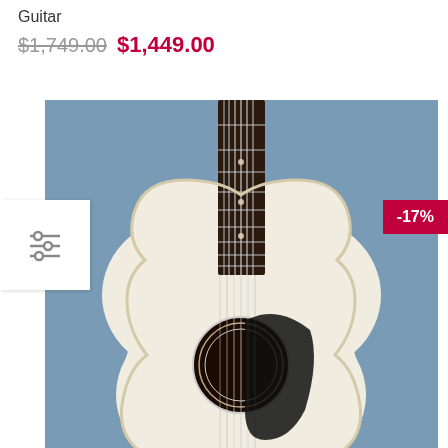Guitar
$1,749.00 $1,449.00
[Figure (photo): Acoustic guitar photographed from the front showing the body, neck, fretboard, strings, and sound hole against a blue background. A white filter/settings icon button appears on the left side and a red -17% discount badge appears on the top right of the image.]